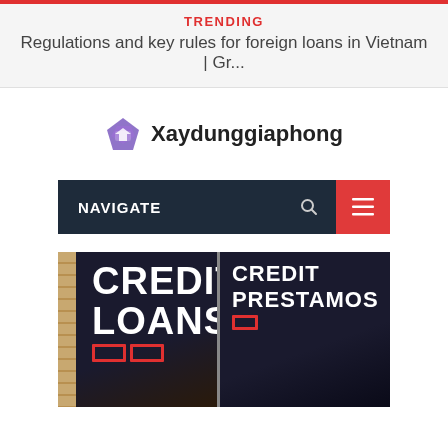TRENDING
Regulations and key rules for foreign loans in Vietnam | Gr...
[Figure (logo): Purple diamond/arrow logo icon next to the text 'Xaydunggiaphong']
NAVIGATE
[Figure (photo): Photo of storefront signs reading 'CREDIT LOANS' and 'CREDIT PRESTAMOS' with white text on black background, red bracket decorations at bottom, and brick wall visible on the left side.]